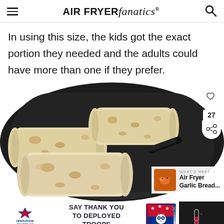AIR FRYER fanatics
In using this size, the kids got the exact portion they needed and the adults could have more than one if they prefer.
[Figure (photo): Burritos in an air fryer basket, viewed from above. Three rolled burritos with golden-brown spots visible in a dark air fryer basket. A heart/save button and share count (27) widget are visible in the top-right corner. A 'What's Next' banner shows Air Fryer Garlic Bread... at the bottom right.]
[Figure (other): Advertisement banner: Operation Gratitude - Say Thank You To Deployed Troops, with a patriotic owl mascot illustration]